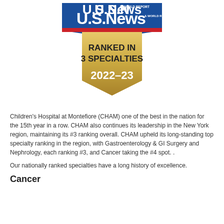[Figure (logo): U.S. News & World Report badge showing 'Ranked in 3 Specialties 2022-23' in a gold pentagon/shield with blue banner logo on top]
Children's Hospital at Montefiore (CHAM) one of the best in the nation for the 15th year in a row. CHAM also continues its leadership in the New York region, maintaining its #3 ranking overall. CHAM upheld its long-standing top specialty ranking in the region, with Gastroenterology & GI Surgery and Nephrology, each ranking #3, and Cancer taking the #4 spot. .
Our nationally ranked specialties have a long history of excellence.
Cancer